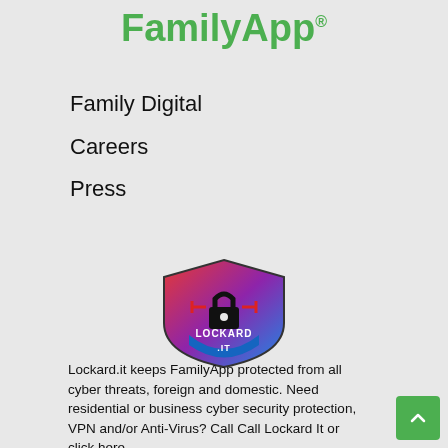FamilyApp®
Family Digital
Careers
Press
[Figure (logo): Lockard.it shield logo with red/blue gradient, lock icon, and text LOCKARD.IT]
Lockard.it keeps FamilyApp protected from all cyber threats, foreign and domestic. Need residential or business cyber security protection, VPN and/or Anti-Virus? Call Call Lockard It or click here.